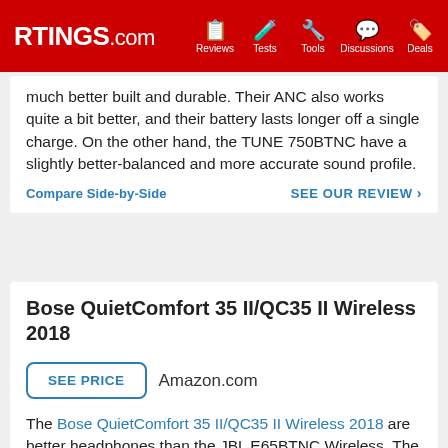RTINGS.com — Reviews, Tests, Tools, Discussions, Deals
much better built and durable. Their ANC also works quite a bit better, and their battery lasts longer off a single charge. On the other hand, the TUNE 750BTNC have a slightly better-balanced and more accurate sound profile.
Compare Side-by-Side   SEE OUR REVIEW ›
Bose QuietComfort 35 II/QC35 II Wireless 2018
SEE PRICE  Amazon.com
The Bose QuietComfort 35 II/QC35 II Wireless 2018 are better headphones than the JBL E65BTNC Wireless. The Bose have a more